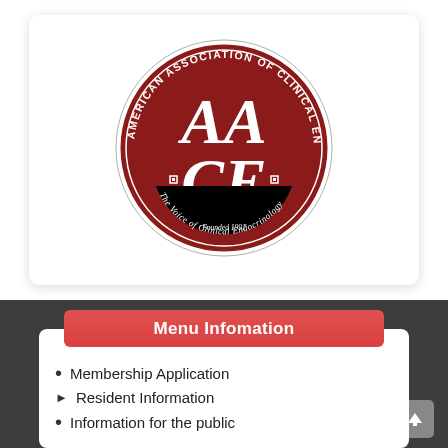[Figure (logo): AACE - American Association of Clinical Endocrinologists circular seal logo with dark red background, white AACE letters, text reading 'The Voice of Clinical Endocrinology', 'Founded 1991']
Menu Infomation
Membership Application
Resident Information
Information for the public